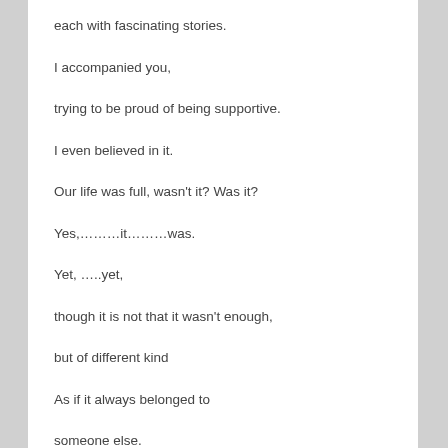each with fascinating stories.
I accompanied you,
trying to be proud of being supportive.
I even believed in it.
Our life was full, wasn't it? Was it?
Yes,………it………was.
Yet, …..yet,
though it is not that it wasn't enough,
but of different kind
As if it always belonged to
someone else.